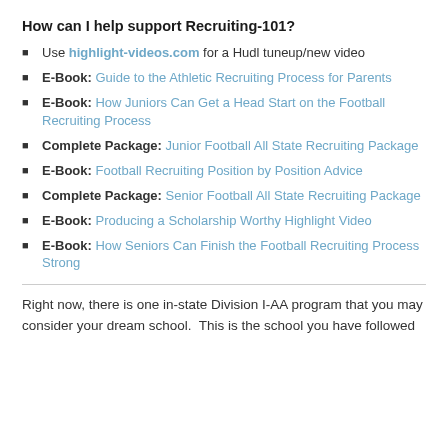How can I help support Recruiting-101?
Use highlight-videos.com for a Hudl tuneup/new video
E-Book: Guide to the Athletic Recruiting Process for Parents
E-Book: How Juniors Can Get a Head Start on the Football Recruiting Process
Complete Package: Junior Football All State Recruiting Package
E-Book: Football Recruiting Position by Position Advice
Complete Package: Senior Football All State Recruiting Package
E-Book: Producing a Scholarship Worthy Highlight Video
E-Book: How Seniors Can Finish the Football Recruiting Process Strong
Right now, there is one in-state Division I-AA program that you may consider your dream school. This is the school you have followed